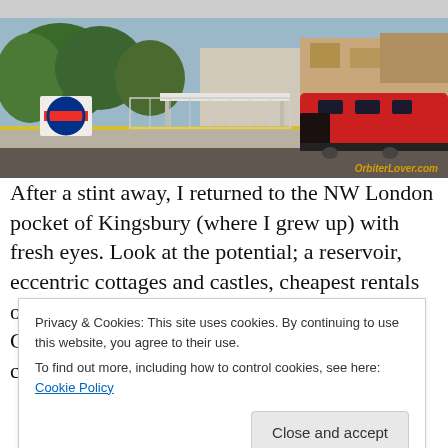[Figure (photo): A London Underground station platform (Kingsbury) with a red tube train arriving, station signage, trees and buildings in background. Watermark reads OrbiterLover.com]
After a stint away, I returned to the NW London pocket of Kingsbury (where I grew up) with fresh eyes. Look at the potential; a reservoir, eccentric cottages and castles, cheapest rentals on the Jubilee line, 15 minute tube ride to Central London and an actual genuine community that
Privacy & Cookies: This site uses cookies. By continuing to use this website, you agree to their use.
To find out more, including how to control cookies, see here: Cookie Policy
[Close and accept]